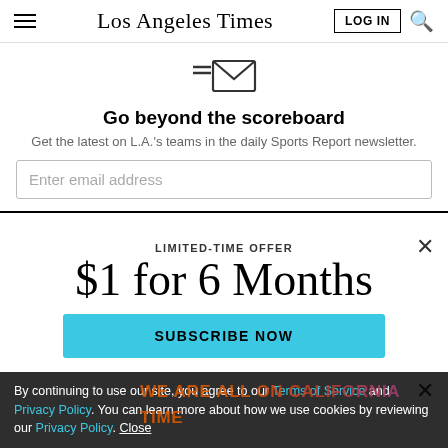Los Angeles Times
[Figure (logo): Envelope icon for newsletter signup]
Go beyond the scoreboard
Get the latest on L.A.'s teams in the daily Sports Report newsletter.
Enter email address
LIMITED-TIME OFFER
$1 for 6 Months
SUBSCRIBE NOW
By continuing to use our site, you agree to our Terms of Service and Privacy Policy. You can learn more about how we use cookies by reviewing our Privacy Policy. Close